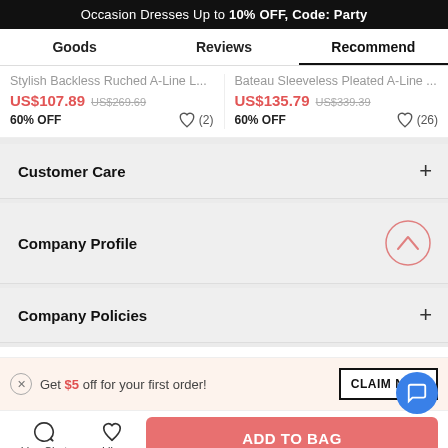Occasion Dresses Up to 10% OFF, Code: Party
Goods | Reviews | Recommend
Stylish Backless Ruched A-Line L... US$107.89 US$269.69 60% OFF (2)
Bateau Sleeveless Pleated A-Line ... US$135.79 US$339.39 60% OFF (26)
Customer Care +
Company Profile +
Company Policies +
Get $5 off for your first order!
CLAIM NOW
Live Chat | Like | ADD TO BAG